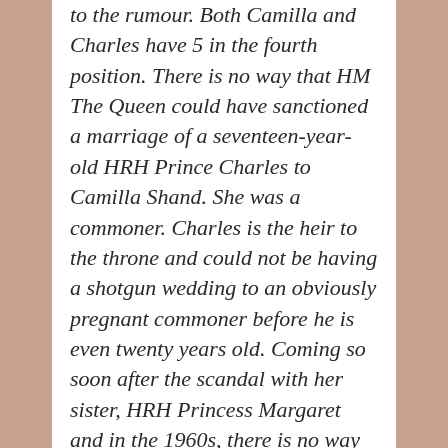to the rumour. Both Camilla and Charles have 5 in the fourth position. There is no way that HM The Queen could have sanctioned a marriage of a seventeen-year-old HRH Prince Charles to Camilla Shand. She was a commoner. Charles is the heir to the throne and could not be having a shotgun wedding to an obviously pregnant commoner before he is even twenty years old. Coming so soon after the scandal with her sister, HRH Princess Margaret and in the 1960s, there is no way that a marriage was possible between Charles and Camilla. There had been no long courtship and all of a